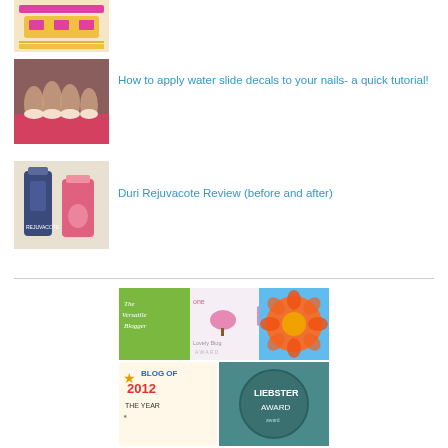[Figure (photo): Pink and gold decorative thumbnail image at the top]
[Figure (photo): Photo of nails with French tip manicure]
How to apply water slide decals to your nails- a quick tutorial!
[Figure (photo): Photo of Duri Rejuvacote nail product bottles]
Duri Rejuvacote Review (before and after)
[Figure (illustration): Collage of blog awards: The Versatile Blogger, One Lovely Blog Award, orange flower photo, Blog of 2012 The Year, Liebster Award badges]